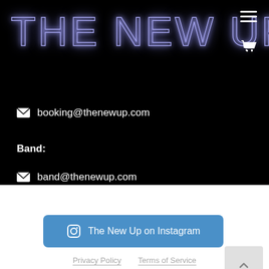THE NEW UP
booking@thenewup.com
Band:
band@thenewup.com
The New Up on Instagram
Privacy Policy    Terms of Service